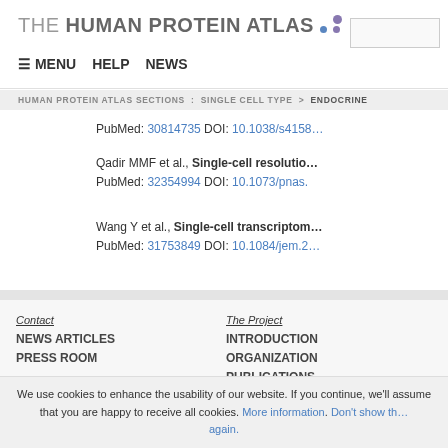THE HUMAN PROTEIN ATLAS
≡ MENU   HELP   NEWS
HUMAN PROTEIN ATLAS SECTIONS : SINGLE CELL TYPE > ENDOCRINE
PubMed: 30814735 DOI: 10.1038/s415...
Qadir MMF et al., Single-cell resolution... PubMed: 32354994 DOI: 10.1073/pnas....
Wang Y et al., Single-cell transcriptom... PubMed: 31753849 DOI: 10.1084/jem.2...
Contact
NEWS ARTICLES
PRESS ROOM
The Project
INTRODUCTION
ORGANIZATION
PUBLICATIONS
DOWNLOADABLE DATA
We use cookies to enhance the usability of our website. If you continue, we'll assume that you are happy to receive all cookies. More information. Don't show this again.